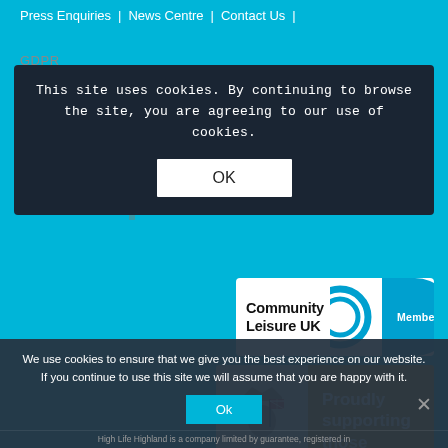Press Enquiries | News Centre | Contact Us |
GDPR
This site uses cookies. By continuing to browse the site, you are agreeing to our use of cookies.
OK
[Figure (logo): Community Leisure UK Member badge - white background with blue circle/swoosh design and Member tab]
[Figure (logo): Armed Forces Covenant logo with lion holding flag, and gold panel reading 'Proudly supporting those who serve']
We use cookies to ensure that we give you the best experience on our website. If you continue to use this site we will assume that you are happy with it.
Ok
High Life Highland is a company limited by guarantee, registered in